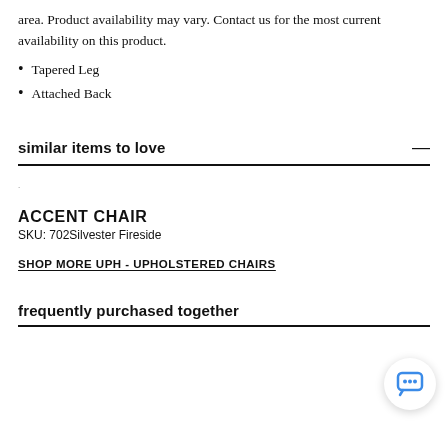area. Product availability may vary. Contact us for the most current availability on this product.
Tapered Leg
Attached Back
similar items to love
.
ACCENT CHAIR
SKU: 702Silvester Fireside
SHOP MORE UPH - UPHOLSTERED CHAIRS
frequently purchased together